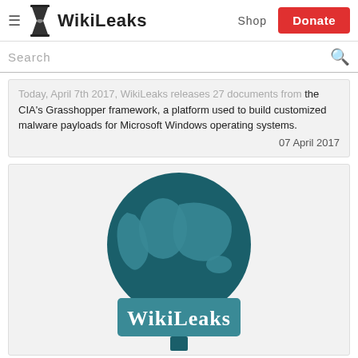WikiLeaks — Shop | Donate
Search
Today, April 7th 2017, WikiLeaks releases 27 documents from the CIA's Grasshopper framework, a platform used to build customized malware payloads for Microsoft Windows operating systems.
07 April 2017
[Figure (logo): WikiLeaks logo: a globe with continents shown in lighter teal on a dark teal background, with a rectangular banner below reading 'WikiLeaks' in white serif text, and a tree trunk/drip shape below the globe.]